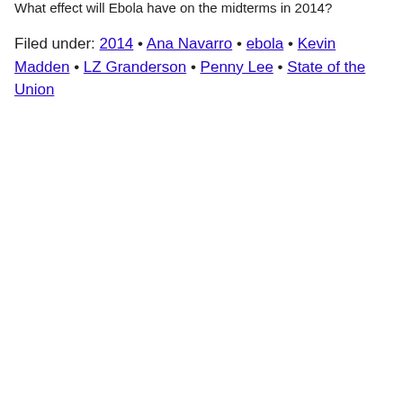What effect will Ebola have on the midterms in 2014?
Filed under: 2014 • Ana Navarro • ebola • Kevin Madden • LZ Granderson • Penny Lee • State of the Union